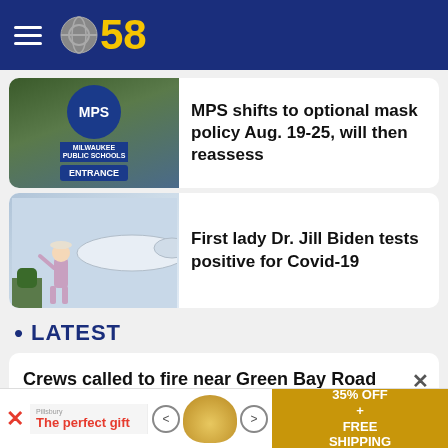CBS 58
[Figure (photo): MPS (Milwaukee Public Schools) entrance sign with circle logo]
MPS shifts to optional mask policy Aug. 19-25, will then reassess
[Figure (photo): First Lady Dr. Jill Biden waving near an aircraft]
First lady Dr. Jill Biden tests positive for Covid-19
• LATEST
Crews called to fire near Green Bay Road and Hawthorne Trace in Brown Deer
[Figure (other): Advertisement banner: The perfect gift - 35% OFF + FREE SHIPPING]